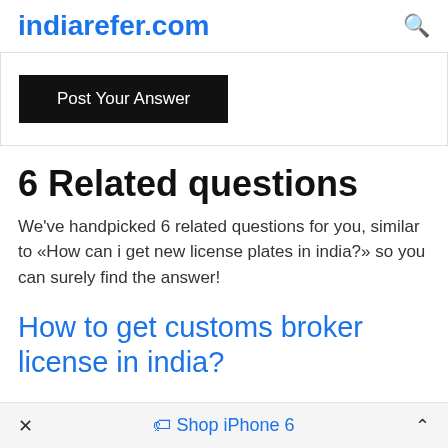indiarefer.com
Post Your Answer
6 Related questions
We've handpicked 6 related questions for you, similar to «How can i get new license plates in india?» so you can surely find the answer!
How to get customs broker license in india?
× Shop iPhone 6 ^